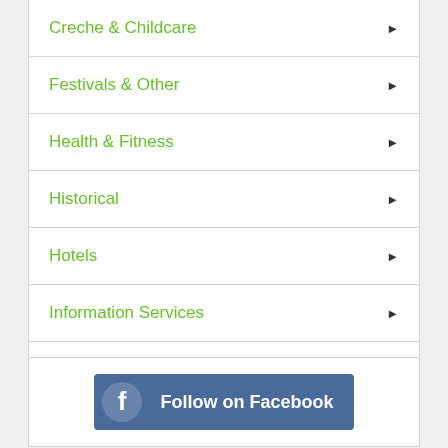Creche & Childcare
Festivals & Other
Health & Fitness
Historical
Hotels
Information Services
All categories
[Figure (other): Follow on Facebook button with Facebook logo icon]